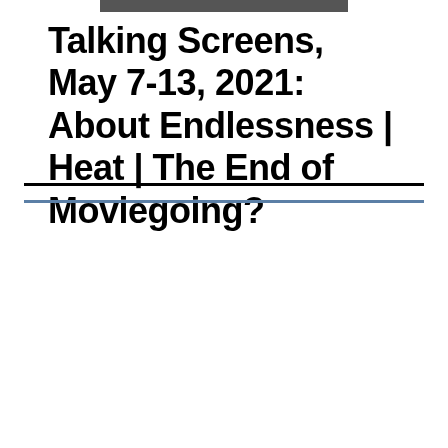[Figure (photo): A dark/grayscale photograph cropped at the top of the page]
Talking Screens, May 7-13, 2021: About Endlessness | Heat | The End of Moviegoing?